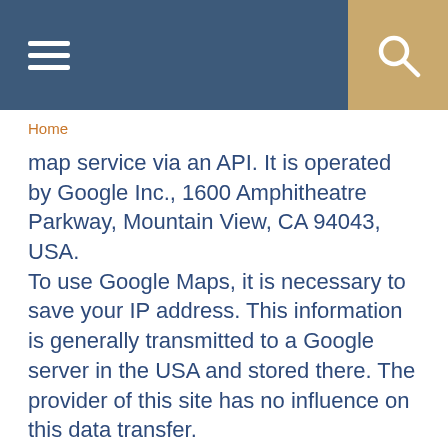Header navigation bar with hamburger menu and search icon
Home
map service via an API. It is operated by Google Inc., 1600 Amphitheatre Parkway, Mountain View, CA 94043, USA.
To use Google Maps, it is necessary to save your IP address. This information is generally transmitted to a Google server in the USA and stored there. The provider of this site has no influence on this data transfer.
The use of Google Maps is in the interest of making our website appealing and to facilitate the location of places specified by us on the website. This constitutes a justified interest pursuant to Art. 6 (1) (f) DSGVO.